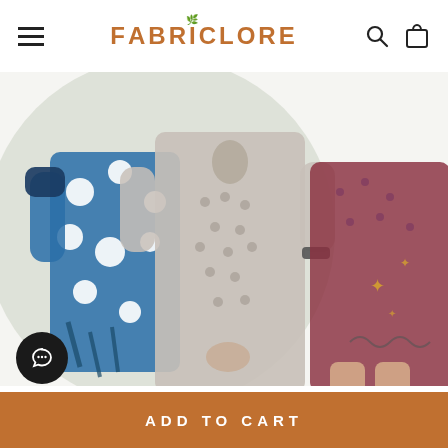FABRICLORE
[Figure (photo): Photo of three women wearing Indian-style clothing: one in a blue and white polka-dot outfit, one in a grey kurta, and one in a dark red/maroon dress. Background has a large circular muted green/grey shape with decorative swirl and star doodles on the right side.]
The Fab Tribe
ADD TO CART